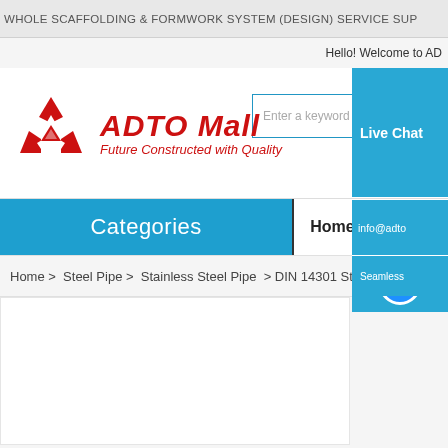WHOLE SCAFFOLDING & FORMWORK SYSTEM (DESIGN) SERVICE SUP...
Hello! Welcome to ADTO...
[Figure (logo): ADTO Mall logo with triangular red geometric icon and red italic text 'ADTO Mall' and subtitle 'Future Constructed with Quality']
Enter a keyword to search...
Live Chat
info@adto...
S (Skype icon)
86-731-...
Categories
Home   Products
Home > Steel Pipe > Stainless Steel Pipe > DIN 14301 Stainless Steel Seamless...